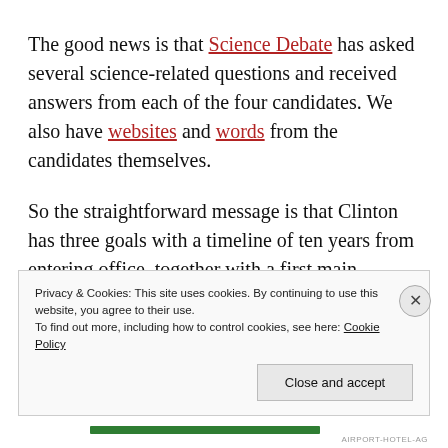The good news is that Science Debate has asked several science-related questions and received answers from each of the four candidates. We also have websites and words from the candidates themselves.
So the straightforward message is that Clinton has three goals with a timeline of ten years from entering office, together with a first main overarching target. These are (and I quote):
Privacy & Cookies: This site uses cookies. By continuing to use this website, you agree to their use. To find out more, including how to control cookies, see here: Cookie Policy